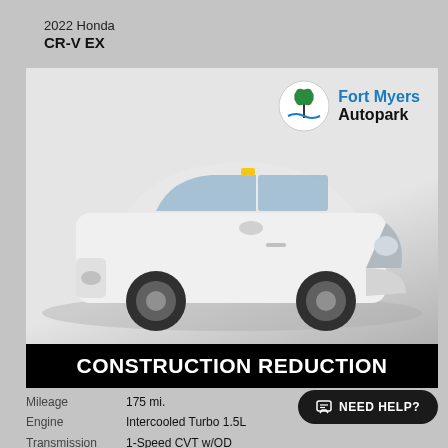2022 Honda CR-V EX
[Figure (photo): White 2022 Honda CR-V EX SUV photographed at a dealership lot. Fort Myers Autopark dealer logo visible in upper right of photo. Black banner at bottom reads CONSTRUCTION REDUCTION.]
Mileage	175 mi.
Engine	Intercooled Turbo 1.5L
Transmission	1-Speed CVT w/OD